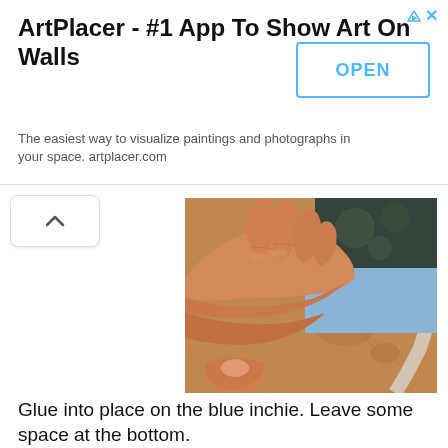[Figure (infographic): Advertisement banner for ArtPlacer app with title, description, and OPEN button]
ArtPlacer - #1 App To Show Art On Walls
The easiest way to visualize paintings and photographs in your space. artplacer.com
[Figure (photo): A hand pressing down on a blue inchie piece glued to a brown board surface, with a dark slate tile visible at the top]
Glue into place on the blue inchie.  Leave some space at the bottom.